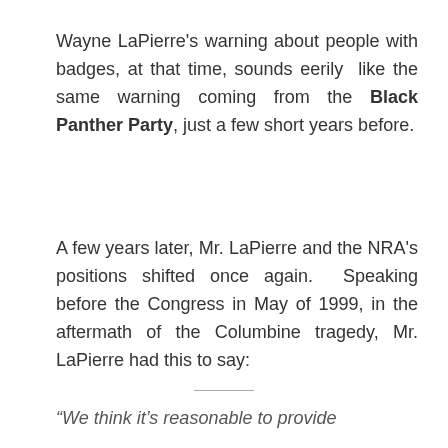Wayne LaPierre's warning about people with badges, at that time, sounds eerily like the same warning coming from the Black Panther Party, just a few short years before.
A few years later, Mr. LaPierre and the NRA's positions shifted once again. Speaking before the Congress in May of 1999, in the aftermath of the Columbine tragedy, Mr. LaPierre had this to say:
“We think it’s reasonable to provide